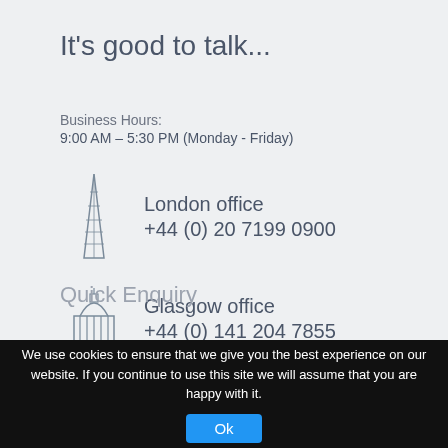It's good to talk...
Business Hours:
9:00 AM – 5:30 PM (Monday - Friday)
[Figure (illustration): Line drawing icon of a tall modern building (The Shard, London)]
London office
+44 (0) 20 7199 0900
[Figure (illustration): Line drawing icon of a domed parliament/government building (Glasgow)]
Glasgow office
+44 (0) 141 204 7855
Quick Enquiry
We use cookies to ensure that we give you the best experience on our website. If you continue to use this site we will assume that you are happy with it.